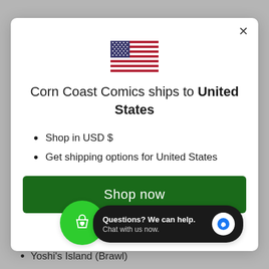[Figure (illustration): US flag emoji/icon centered in modal]
Corn Coast Comics ships to United States
Shop in USD $
Get shipping options for United States
Shop now
Change shipping country
[Figure (illustration): Green circular shopping cart with heart icon button]
Questions? We can help. Chat with us now.
Yoshi's Island (Brawl)